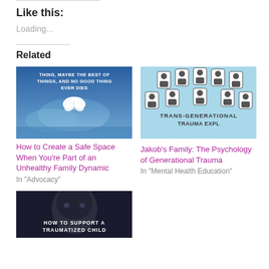Like this:
Loading...
Related
[Figure (photo): Book cover with blue sky and white butterfly, text: 'THING, MAYBE THE BEST OF THINGS, AND NO GOOD THING EVER DIES']
How to Create a Safe Space When You're Part of an Unhealthy Family Dynamic
In "Advocacy"
[Figure (photo): Light blue infographic showing person icons arranged in an arc, text: 'TRANS-GENERATIONAL TRAUMA EXPLAINED']
Jakob's Family: The Psychology of Generational Trauma
In "Mental Health Education"
[Figure (photo): Dark image with text: 'HOW TO SUPPORT A TRAUMATIZED CHILD']